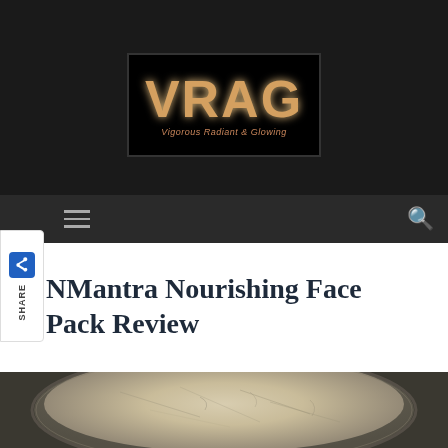[Figure (logo): VRAG logo — bold orange/gold letters on black background with subtitle 'Vigorous Radiant & Glowing']
[Figure (screenshot): Dark navigation bar with hamburger menu on left and search icon on right; SHARE widget on left side]
NMantra Nourishing Face Pack Review
[Figure (photo): Close-up photo of a jar containing light beige/cream coloured powder — NMantra Nourishing Face Pack]